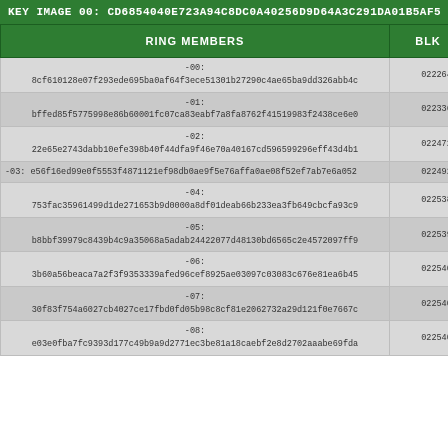KEY IMAGE 00: CD6854040E723A94C8DC0A40256D9D64A3C291DA01B5AF5
| RING MEMBERS | BLK |
| --- | --- |
| -00:
8cf610128e07f293ede695ba0af64f3ece51301b27290c4ae65ba9dd326abb4c | 02226414 |
| -01:
bffed85f5775998e86b60001fc07ca83eabf7a8fa8762f41519983f2438ce6e0 | 02233603 |
| -02:
22e65e2743dabb10efe398b40f44dfa9f46e70a40167cd596599296eff43d4b1 | 02247213 |
| -03: e56f16ed99e0f5553f4871121ef98db0ae9f5e76affa0ae08f52ef7ab7e6a052 | 02249276 |
| -04:
753fac35961499d1de271653b9d0000a8df01deab66b233ea3fb649cbcfa93c9 | 02253826 |
| -05:
b8bbf39979c8439b4c9a35068a5adab24422077d48130bd6565c2e4572097ff9 | 02253941 |
| -06:
3b60a56beaca7a2f3f9353339afed96cef8925ae03097c03083c676e81ea6b45 | 02254006 |
| -07:
30f83f754a6027cb4027ce17fbd0fd05b98c8cf81e2062732a29d121f0e7667c | 02254058 |
| -08:
e03e0fba7fc9393d177c49b9a9d2771ec3be81a18caebf2e8d2702aaabe69fda | 02254060 |